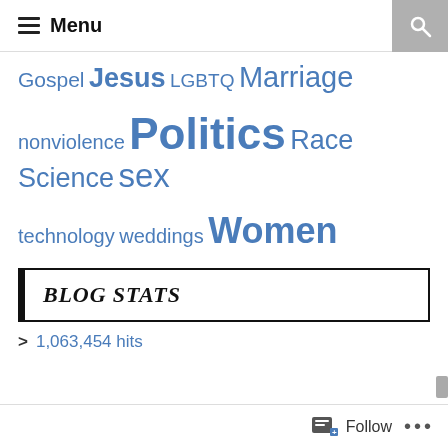Menu
Gospel Jesus LGBTQ Marriage nonviolence Politics Race Science sex technology weddings Women
BLOG STATS
> 1,063,454 hits
Follow ...